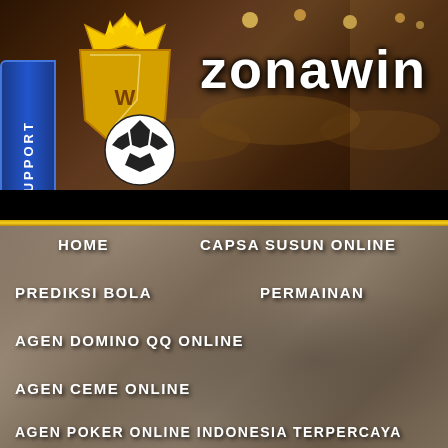[Figure (screenshot): Zonawin online gambling website header banner with casino background, trophy/crown logo, soccer ball, and 'zonawin' brand text. Blue vertical support tab on left side.]
HOME
CAPSA SUSUN ONLINE
PREDIKSI BOLA
PERMAINAN
AGEN DOMINO QQ ONLINE
AGEN CEME ONLINE
AGEN POKER ONLINE INDONESIA TERPERCAYA